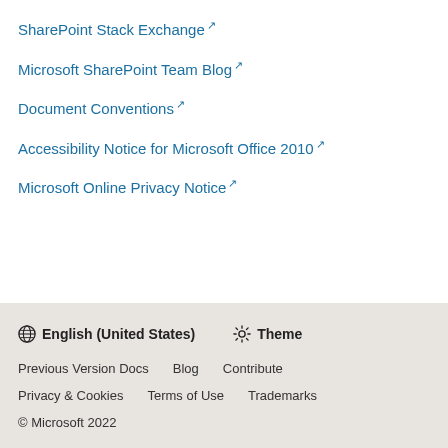SharePoint Stack Exchange ↗
Microsoft SharePoint Team Blog ↗
Document Conventions ↗
Accessibility Notice for Microsoft Office 2010 ↗
Microsoft Online Privacy Notice ↗
🌐 English (United States)  ✳ Theme
Previous Version Docs  Blog  Contribute
Privacy & Cookies  Terms of Use  Trademarks
© Microsoft 2022